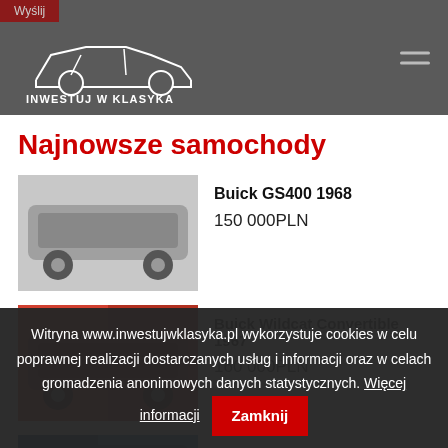Wyślij — Inwestuj W Klasyka
Najnowsze samochody
Buick GS400 1968
150 000PLN
Buick Wildcat Convertible 1967
160 000PLN
Chevrolet Chevelle Malibu 1969
Witryna www.inwestujwklasyka.pl wykorzystuje cookies w celu poprawnej realizacji dostarczanych usług i informacji oraz w celach gromadzenia anonimowych danych statystycznych. Więcej informacji  Zamknij